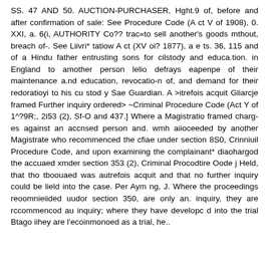SS. 47 AND 50. AUCTION-PURCHASER, Hght.9 of, before and after confirmation of sale: See Procedure Code (A ct V of 1908), 0. XXI, a. 6(i, AUTHORITY Co?? trac«to sell another's goods mthout, breach of-. See Liivri* tatiow A ct (XV oi? 1877), a e ts. 36, 115 and of a Hindu father entrusting sons for cilstody and educa.tion. in England to amother person lelio defrays eapenpe of their maintenance a.nd education, revocatio-n of, and demand for their redoratioyi to his cu stod y Sae Guardian. A >itrefois acquit Gliarcje framed Further inquiry ordered> ~Criminal Procedure Code (Act Y of 1^?9R;, 2i53 (2), Sf-O and 437.] Where a Magistratio framed charg-es against an accnsed person and. wmh aiioceeded by another Magistrate who recommenced the cfiae under section 8S0, Crinniuil Procedure Code, and upon examining the complainant* diaohargod the accuaed xmder section 353 (2), Criminal Procodtire Oode j Held, that tho tboouaed was autrefois acquit and that no further inquiry could be lield into the case. Per Aym ng, J. Where the proceedings reoomnieiided uudor section 350, are only an. inquiry, they are rccommencod au inquiry; where they have developc d into the trial Btago iihey are l'ecoinmonoed as a trial, he.. .... directing which .... based ..... For f b. Th...